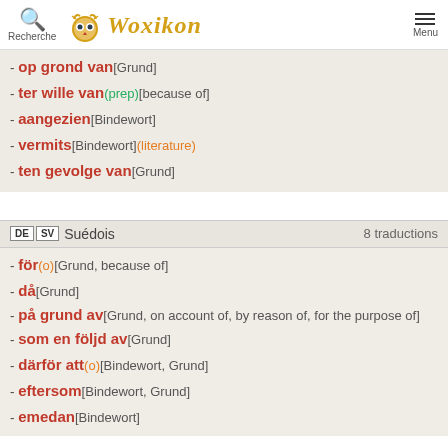Recherche | Woxikon | Menu
- op grond van [Grund]
- ter wille van (prep)[because of]
- aangezien [Bindewort]
- vermits [Bindewort] (literature)
- ten gevolge van [Grund]
DE SV Suédois — 8 traductions
- för (o)[Grund, because of]
- då [Grund]
- på grund av [Grund, on account of, by reason of, for the purpose of]
- som en följd av [Grund]
- därför att (o)[Bindewort, Grund]
- eftersom [Bindewort, Grund]
- emedan [Bindewort]